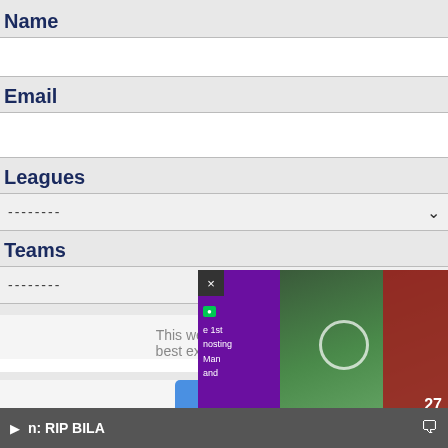Name
Email
Leagues
Teams
Feedback
This website uses coo best experience on ou
n: RIP BILA